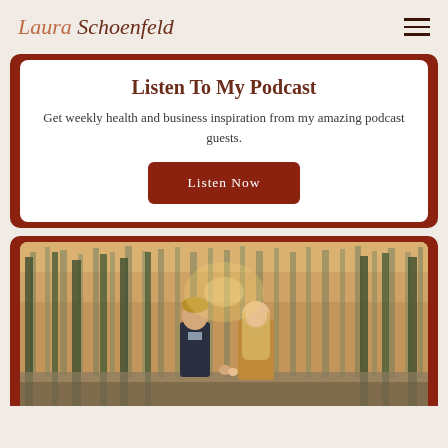Laura Schoenfeld
Listen To My Podcast
Get weekly health and business inspiration from my amazing podcast guests.
Listen Now
[Figure (photo): A couple holding hands walking in a pine forest at golden hour. Man in dark jacket on left, woman in tan/caramel fur coat on right with long blonde hair, both smiling.]